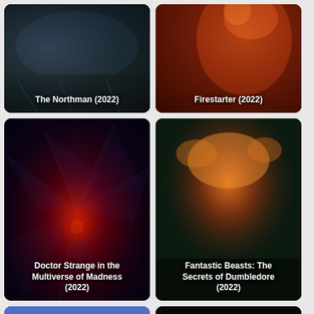[Figure (photo): Movie poster thumbnail for The Northman (2022) - dark stormy oceanic scene]
[Figure (photo): Movie poster thumbnail for Firestarter (2022) - girl with fiery red hair and flames]
[Figure (photo): Movie poster thumbnail for Doctor Strange in the Multiverse of Madness (2022) - shattered glass with red magical glow]
[Figure (photo): Movie poster thumbnail for Fantastic Beasts: The Secrets of Dumbledore (2022) - group of characters with fire and phoenix]
[Figure (photo): Movie poster thumbnail for an animated children's film - cartoon girl under starry dome]
[Figure (photo): Movie poster thumbnail for Where Is Anne Frank? - dark city scene with red title text]